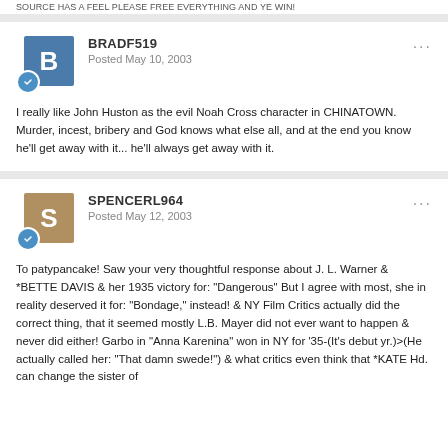SOURCE HAS A FEEL PLEASE FREE EVERYTHING AND YE WIN!
BRADF519
Posted May 10, 2003

I really like John Huston as the evil Noah Cross character in CHINATOWN. Murder, incest, bribery and God knows what else all, and at the end you know he'll get away with it... he'll always get away with it.
SPENCERL964
Posted May 12, 2003

To patypancake! Saw your very thoughtful response about J. L. Warner & *BETTE DAVIS & her 1935 victory for: "Dangerous" But I agree with most, she in reality deserved it for: "Bondage," instead! & NY Film Critics actually did the correct thing, that it seemed mostly L.B. Mayer did not ever want to happen & never did either! Garbo in "Anna Karenina" won in NY for '35-(It's debut yr.)>(He actually called her: "That damn swede!") & what critics even think that *KATE Hd. can change the sister of